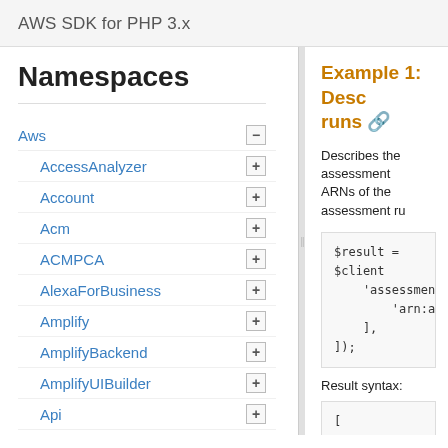AWS SDK for PHP 3.x
Namespaces
Aws
AccessAnalyzer
Account
Acm
ACMPCA
AlexaForBusiness
Amplify
AmplifyBackend
AmplifyUIBuilder
Api
ApiGateway
ApiGatewayManagementApi
Example 1: Desc runs
Describes the assessment ARNs of the assessment ru
$result = $client
    'assessmentRu
        'arn:aws:
    ],
]);
Result syntax:
[
    'assessmentRu
        [
            'name
            'arn'
            'asse